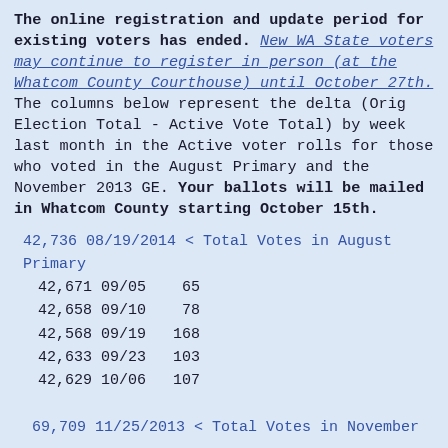The online registration and update period for existing voters has ended. New WA State voters may continue to register in person (at the Whatcom County Courthouse) until October 27th. The columns below represent the delta (Orig Election Total - Active Vote Total) by week last month in the Active voter rolls for those who voted in the August Primary and the November 2013 GE. Your ballots will be mailed in Whatcom County starting October 15th.
42,736 08/19/2014 < Total Votes in August Primary
 42,671 09/05    65
 42,658 09/10    78
 42,568 09/19   168
 42,633 09/23   103
 42,629 10/06   107
69,709 11/25/2013 < Total Votes in November